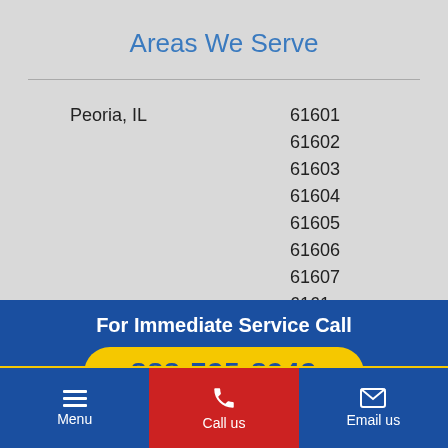Areas We Serve
| City | ZIP Codes |
| --- | --- |
| Peoria, IL | 61601 |
|  | 61602 |
|  | 61603 |
|  | 61604 |
|  | 61605 |
|  | 61606 |
|  | 61607 |
|  | 6161… |
For Immediate Service Call
888-725-8942
Menu  |  Call us  |  Email us